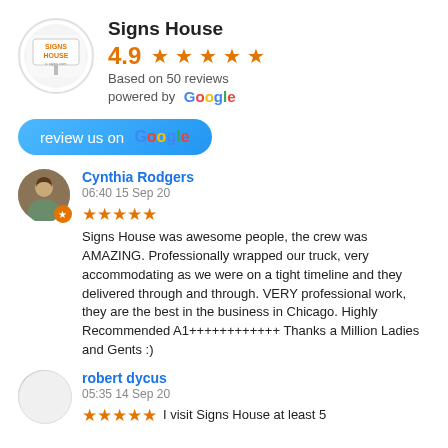Signs House
4.9 ★★★★☆ Based on 50 reviews powered by Google
[Figure (logo): Signs House logo, circular white background with orange and white text]
review us on Google
Cynthia Rodgers
06:40 15 Sep 20
★★★★★ Signs House was awesome people, the crew was AMAZING. Professionally wrapped our truck, very accommodating as we were on a tight timeline and they delivered through and through. VERY professional work, they are the best in the business in Chicago. Highly Recommended A1++++++++++++ Thanks a Million Ladies and Gents :)
robert dycus
05:35 14 Sep 20
★★★★★ I visit Signs House at least 5